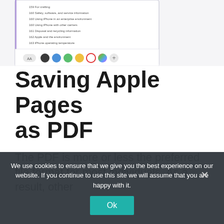[Figure (screenshot): Screenshot of an iPhone/iPad displaying a document table of contents with colored circle theme options (AA, black, blue, green, yellow, red, rainbow, plus) at the bottom. The document shows page numbers and topics like 'Safety, software, and service information', 'Using iPhone in an enterprise environment', 'Using iPhone with other carriers', 'Disposal and recycling information', 'Apple and the environment', 'iPhone operating temperature'.]
Saving Apple Pages as PDF
The PDF is more or less the preferred file format for most individuals. As a result, other
We use cookies to ensure that we give you the best experience on our website. If you continue to use this site we will assume that you are happy with it.